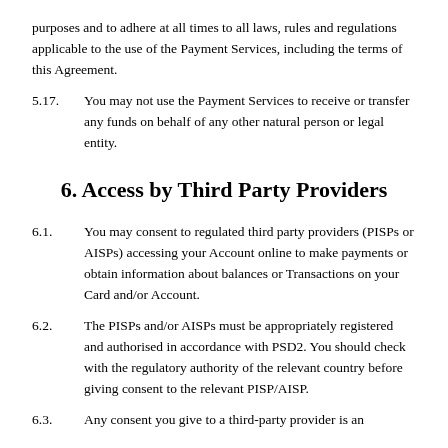purposes and to adhere at all times to all laws, rules and regulations applicable to the use of the Payment Services, including the terms of this Agreement.
5.17.	You may not use the Payment Services to receive or transfer any funds on behalf of any other natural person or legal entity.
6. Access by Third Party Providers
6.1.	You may consent to regulated third party providers (PISPs or AISPs) accessing your Account online to make payments or obtain information about balances or Transactions on your Card and/or Account.
6.2.	The PISPs and/or AISPs must be appropriately registered and authorised in accordance with PSD2. You should check with the regulatory authority of the relevant country before giving consent to the relevant PISP/AISP.
6.3.	Any consent you give to a third-party provider is an